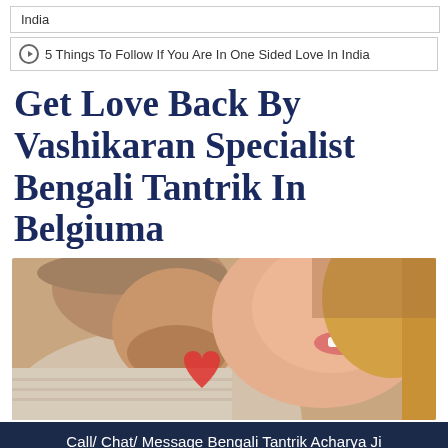India
5 Things To Follow If You Are In One Sided Love In India
Get Love Back By Vashikaran Specialist Bengali Tantrik In Belgiuma
[Figure (photo): Close-up photo of a couple smiling, man and woman, woman holding a red heart]
Call/ Chat/ Message Bengali Tantrik Acharya Ji
[Figure (infographic): Action bar with phone, WhatsApp, share icons and a green circle icon on dark navy background]